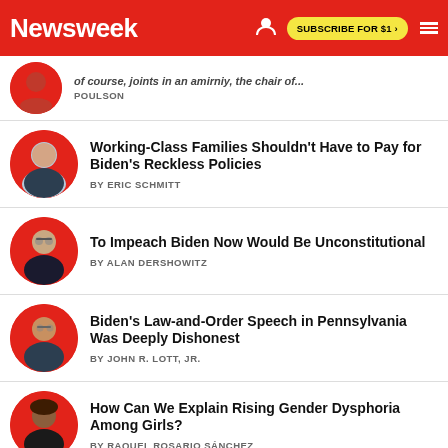Newsweek | SUBSCRIBE FOR $1 >
POULSON
Working-Class Families Shouldn't Have to Pay for Biden's Reckless Policies
BY ERIC SCHMITT
To Impeach Biden Now Would Be Unconstitutional
BY ALAN DERSHOWITZ
Biden's Law-and-Order Speech in Pennsylvania Was Deeply Dishonest
BY JOHN R. LOTT, JR.
How Can We Explain Rising Gender Dysphoria Among Girls?
BY RAQUEL ROSARIO SÁNCHEZ